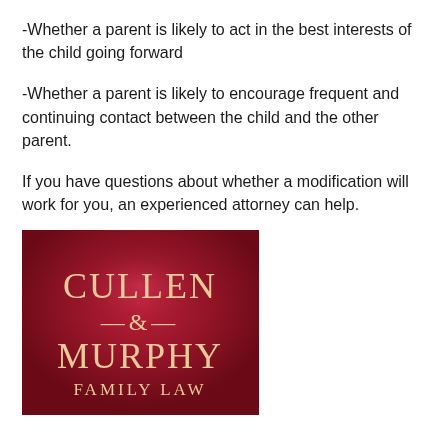-Whether a parent is likely to act in the best interests of the child going forward
-Whether a parent is likely to encourage frequent and continuing contact between the child and the other parent.
If you have questions about whether a modification will work for you, an experienced attorney can help.
[Figure (logo): Cullen & Murphy Family Law logo — dark red background with cream/gold serif text reading CULLEN / —&— / MURPHY / FAMILY LAW]